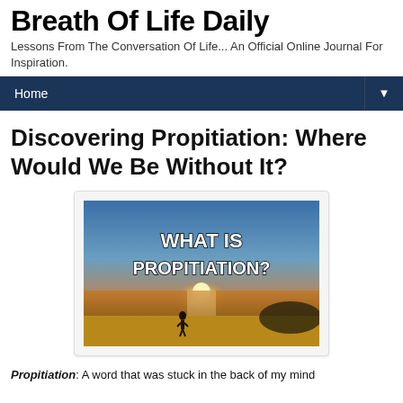Breath Of Life Daily
Lessons From The Conversation Of Life... An Official Online Journal For Inspiration.
Home
Discovering Propitiation: Where Would We Be Without It?
[Figure (photo): A beach sunset scene with a silhouette of a person walking on the shore. Bold white text overlay reads 'WHAT IS PROPITIATION?']
Propitiation: A word that was stuck in the back of my mind